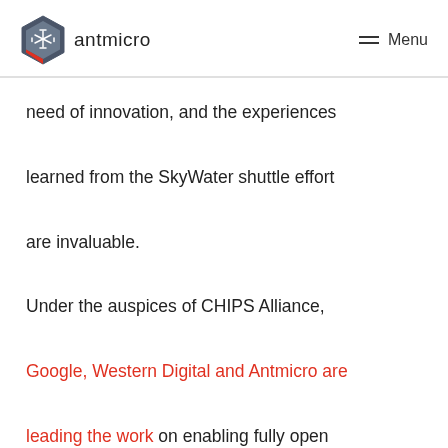antmicro  Menu
need of innovation, and the experiences learned from the SkyWater shuttle effort are invaluable.

Under the auspices of CHIPS Alliance, Google, Western Digital and Antmicro are leading the work on enabling fully open source SystemVerilog development, testing and simulation. The need for